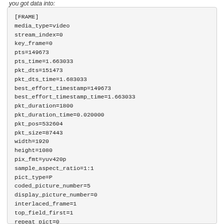you got data into:
[FRAME]
media_type=video
stream_index=0
key_frame=0
pts=149673
pts_time=1.663033
pkt_dts=151473
pkt_dts_time=1.683033
best_effort_timestamp=149673
best_effort_timestamp_time=1.663033
pkt_duration=1800
pkt_duration_time=0.020000
pkt_pos=532604
pkt_size=87443
width=1920
height=1080
pix_fmt=yuv420p
sample_aspect_ratio=1:1
pict_type=P
coded_picture_number=5
display_picture_number=0
interlaced_frame=1
top_field_first=1
repeat_pict=0